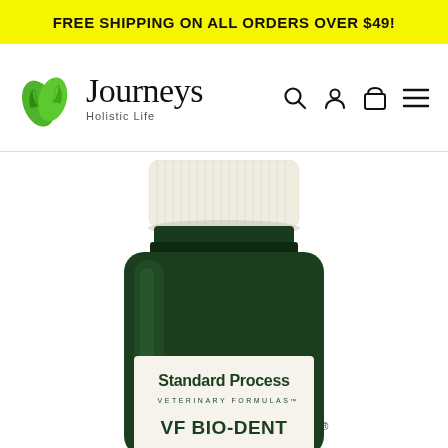FREE SHIPPING ON ALL ORDERS OVER $49!
[Figure (logo): Journeys Holistic Life logo with green leaf icon, search, account, cart, and menu icons in navigation bar]
[Figure (photo): Dark green supplement bottle with white cap, Standard Process Veterinary Formulas label showing VF Bio-Dent product, partial view showing top and label area]